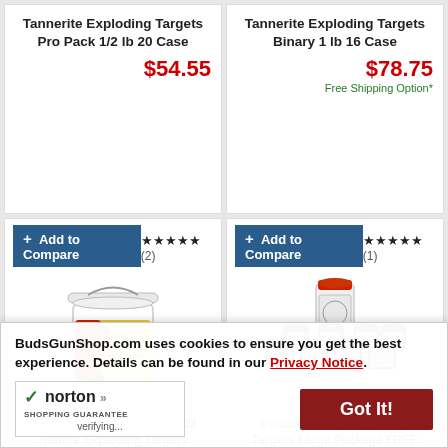Tannerite Exploding Targets Pro Pack 1/2 lb 20 Case
$54.55
Tannerite Exploding Targets Binary 1 lb 16 Case
$78.75
Free Shipping Option*
+ Add to Compare ★★★★★ (2)
[Figure (photo): White Lightning binary exploding firing targets product in a white bucket with red and yellow label]
Tannerite White Lightning .22 Rimfire Exploding Targets
+ Add to Compare ★★★★★ (1)
[Figure (photo): Ironclad Binary Exploding Targets Large Package - multiple small dark jars with one large white/red jar]
Ironclad Binary Exploding Targets Large Package FREE SHIPPING
BudsGunShop.com uses cookies to ensure you get the best experience. Details can be found in our Privacy Notice.
Got It!